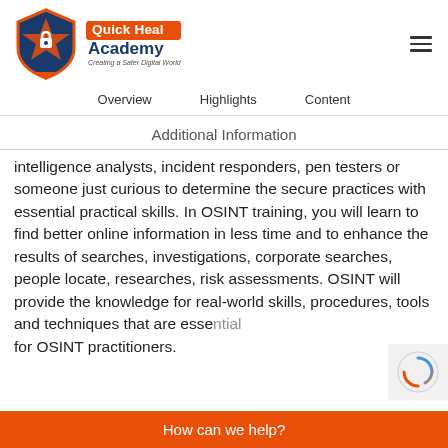[Figure (logo): Quick Heal Academy logo with shield icon and text 'Quick Heal Academy - Creating a Safer Digital World']
Overview  Highlights  Content
Additional Information
intelligence analysts, incident responders, pen testers or someone just curious to determine the secure practices with essential practical skills. In OSINT training, you will learn to find better online information in less time and to enhance the results of searches, investigations, corporate searches, people locate, researches, risk assessments. OSINT will provide the knowledge for real-world skills, procedures, tools and techniques that are essential for OSINT practitioners.
How can we help?